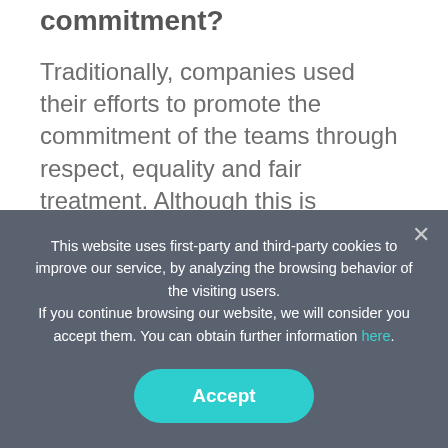commitment?
Traditionally, companies used their efforts to promote the commitment of the teams through respect, equality and fair treatment. Although this is
This website uses first-party and third-party cookies to improve our service, by analyzing the browsing behavior of the visiting users. If you continue browsing our website, we will consider you accept them. You can obtain further information here.